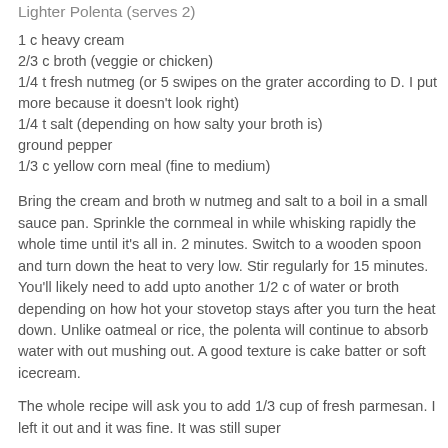Lighter Polenta (serves 2)
1 c heavy cream
2/3 c broth (veggie or chicken)
1/4 t fresh nutmeg (or 5 swipes on the grater according to D. I put more because it doesn't look right)
1/4 t salt (depending on how salty your broth is)
ground pepper
1/3 c yellow corn meal (fine to medium)
Bring the cream and broth w nutmeg and salt to a boil in a small sauce pan. Sprinkle the cornmeal in while whisking rapidly the whole time until it's all in. 2 minutes. Switch to a wooden spoon and turn down the heat to very low. Stir regularly for 15 minutes. You'll likely need to add upto another 1/2 c of water or broth depending on how hot your stovetop stays after you turn the heat down. Unlike oatmeal or rice, the polenta will continue to absorb water with out mushing out. A good texture is cake batter or soft icecream.
The whole recipe will ask you to add 1/3 cup of fresh parmesan. I left it out and it was fine. It was still super